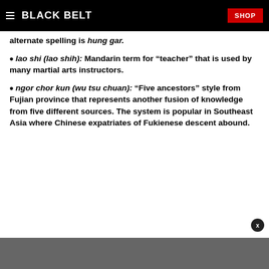BLACK BELT | SHOP
alternate spelling is hung gar.
lao shi (lao shih): Mandarin term for “teacher” that is used by many martial arts instructors.
ngor chor kun (wu tsu chuan): “Five ancestors” style from Fujian province that represents another fusion of knowledge from five different sources. The system is popular in Southeast Asia where Chinese expatriates of Fukienese descent abound.